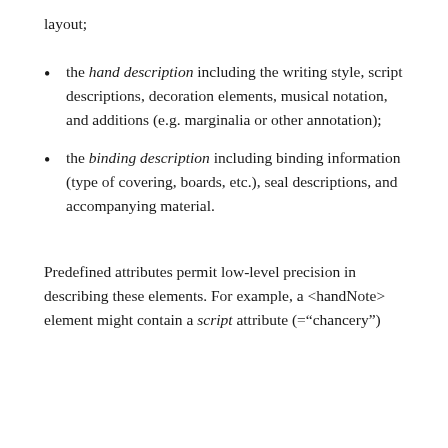layout;
the hand description including the writing style, script descriptions, decoration elements, musical notation, and additions (e.g. marginalia or other annotation);
the binding description including binding information (type of covering, boards, etc.), seal descriptions, and accompanying material.
Predefined attributes permit low-level precision in describing these elements. For example, a <handNote> element might contain a script attribute (="chancery")